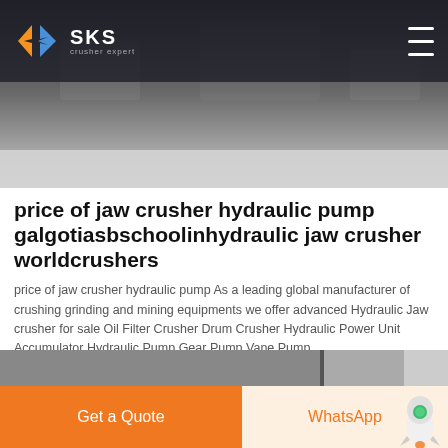SKS crusher expert
[Figure (photo): Dark background hero image showing industrial machinery/crusher equipment]
price of jaw crusher hydraulic pump galgotiasbschoolinhydraulic jaw crusher worldcrushers
price of jaw crusher hydraulic pump As a leading global manufacturer of crushing grinding and mining equipments we offer advanced Hydraulic Jaw crusher for sale Oil Filter Crusher Drum Crusher Hydraulic Power Unit Accumulator Hydraulic Pump Gear Pump Vane Pump
Get Price
Get a Quote | WhatsApp